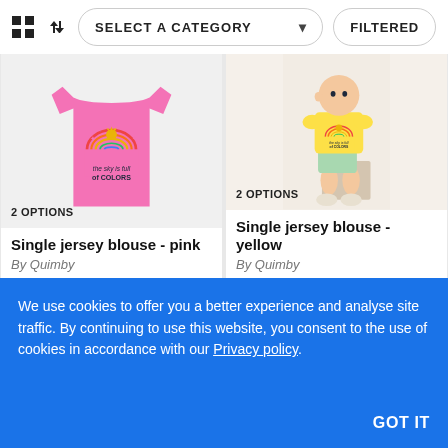[Figure (screenshot): Top toolbar with grid icon, sort icon, SELECT A CATEGORY dropdown, and FILTERED button]
[Figure (photo): Pink single jersey blouse with rainbow and 'the sky is full of COLORS' print on light gray background]
2 OPTIONS
Single jersey blouse - pink
By Quimby
[Figure (photo): Baby wearing yellow single jersey blouse with rainbow print, sitting on white surface with colorful shorts and white sneakers]
2 OPTIONS
Single jersey blouse - yellow
By Quimby
We use cookies to offer you a better experience and analyse site traffic. By continuing to use this website, you consent to the use of cookies in accordance with our Privacy policy.